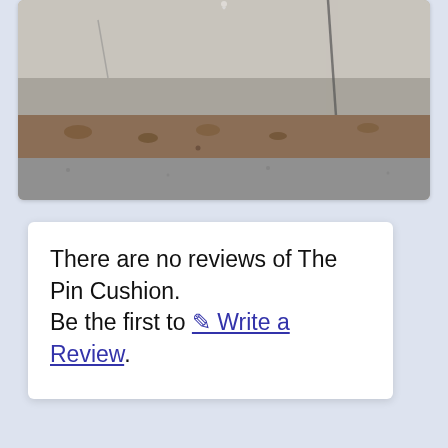[Figure (photo): Partial photo showing a concrete curb or step with cracks, dirt, and fallen leaves on asphalt. The bottom portion of the image is visible, cut off at top.]
There are no reviews of The Pin Cushion. Be the first to ✎ Write a Review.